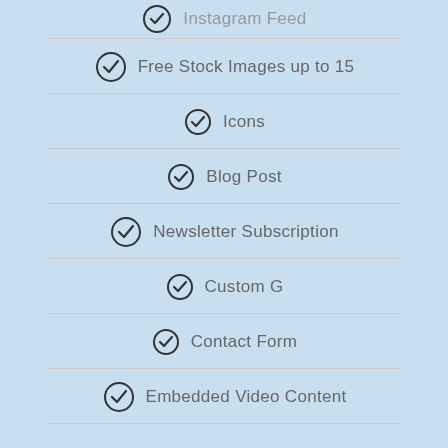Instagram Feed
Free Stock Images up to 15
Icons
Blog Post
Newsletter Subscription
Custom G
Contact Form
Embedded Video Content
Gallery